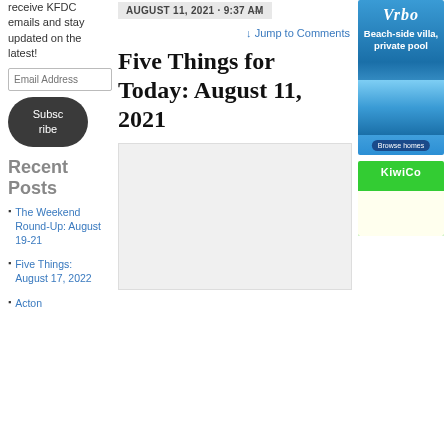receive KFDC emails and stay updated on the latest!
Email Address
Subscribe
Recent Posts
The Weekend Round-Up: August 19-21
Five Things: August 17, 2022
Acton
AUGUST 11, 2021 · 9:37 AM
↓ Jump to Comments
Five Things for Today: August 11, 2021
[Figure (other): Content placeholder / embedded media area (light grey box)]
[Figure (advertisement): Vrbo ad: Beach-side villa, private pool. Browse homes.]
[Figure (advertisement): KiwiCo advertisement banner (green header with KiwiCo logo)]